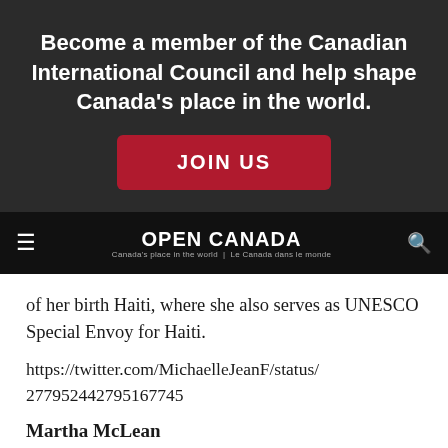Become a member of the Canadian International Council and help shape Canada's place in the world.
JOIN US
OPEN CANADA
Canada's place in the world | Le Canada dans le monde
of her birth Haiti, where she also serves as UNESCO Special Envoy for Haiti.
https://twitter.com/MichaelleJeanF/status/277952442795167745
Martha McLean
Deputy Director, e-Communications, DFAIT | @mjmclean